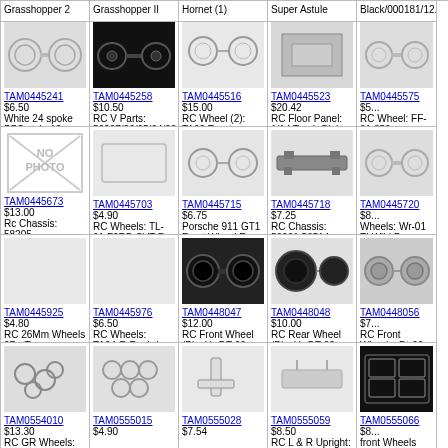| Col1 | Col2 | Col3 | Col4 | Col5 |
| --- | --- | --- | --- | --- |
| Grasshopper 2 | Grasshopper II | Hornet (1) | Super Astute | Black/000181/12... |
| TAM0445241 $6.50 White 24 spoke BBS style 12mm hex mount touring car wheels | TAM0445258 $10.50 RC V Parts: 56307/06/05/04/03 | TAM0445516 $15.00 RC Wheel (2): TA02 Toyota Prerunner CC-01 Mitsubishi Pajero Meta | TAM0445523 $20.42 RC Floor Panel: 1/14 Truck Globe Liner | TAM0445575 $5... RC Wheel: FF-01 850 BTCC/162 - (pieces) |
| TAM0445673 $13.00 Rc Chassis: 58205 | TAM0445703 $4.90 RC Wheels: TL-01 FORD SVT F-Series Lightning - (2 p | TAM0445715 $6.75 Porsche 911 GT1 Front Wheel For F103RS Porsche 911 GT1 | TAM0445718 $7.25 RC Chassis: 58231 58514 | TAM0445720 $8... Wheels: Wr-01 TI Wild Dagger |
| TAM0445925 $4.80 RC 26Mm Wheels 2Pc-Type | TAM0445976 $6.50 RC Wheels: TA04-R Raybrig NSX 2002 | TAM0448047 $12.00 RC Front Wheel (Black): DT-03 Racing Fighter | TAM0448048 $10.00 RC Rear Wheel (Black): DT-03 Racing Fighter | TAM0448056 $7... RC Front Wheels: Dt-02 Off-Road |
| TAM0554010 $13.30 RC GR Wheels: | TAM0555015 $4.90 | TAM0555028 $7.54 | TAM0555059 $8.50 RC L & R Upright: | TAM0555066 $8... front Wheels Th... |